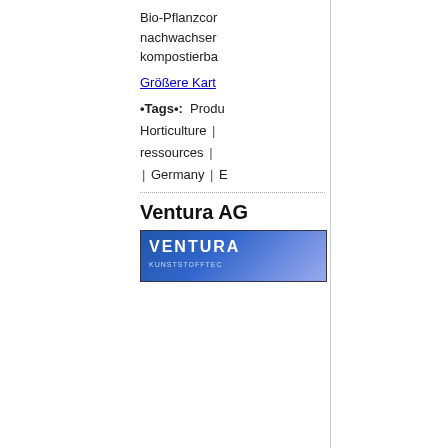Bio-Pflanzcor nachwachser kompostierba
Größere Kart
•Tags•: Produ Horticulture | ressources | | Germany | E
Ventura AG
[Figure (logo): Ventura Kunststofftechnologie logo — blue gradient background with white bold text VENTURA and smaller text KUNSTSTOFFTEC]
25 36 info@v http://www.ve
ADRESSE
Ventura AG k